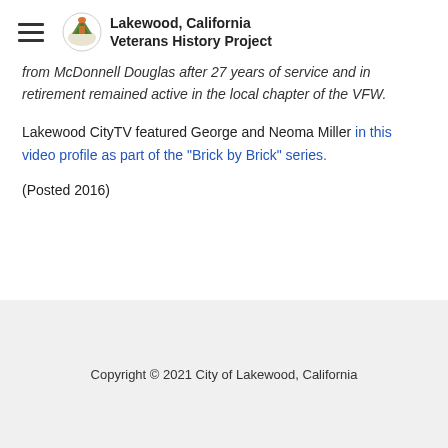Lakewood, California Veterans History Project
from McDonnell Douglas after 27 years of service and in retirement remained active in the local chapter of the VFW.
Lakewood CityTV featured George and Neoma Miller in this video profile as part of the "Brick by Brick" series.
(Posted 2016)
Copyright © 2021 City of Lakewood, California